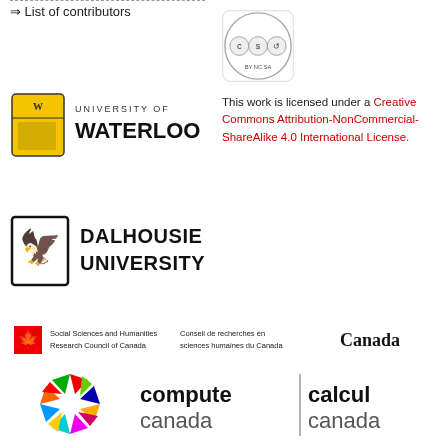⇒ List of contributors
[Figure (logo): Creative Commons BY-NC-SA license logo]
This work is licensed under a Creative Commons Attribution-NonCommercial-ShareAlike 4.0 International License.
[Figure (logo): University of Waterloo logo with shield and wordmark]
[Figure (logo): Dalhousie University logo with eagle shield and wordmark]
[Figure (logo): Social Sciences and Humanities Research Council of Canada / Conseil de recherches en sciences humaines du Canada / Canada wordmark logo]
[Figure (logo): Compute Canada / Calcul Canada logo with colorful starburst]